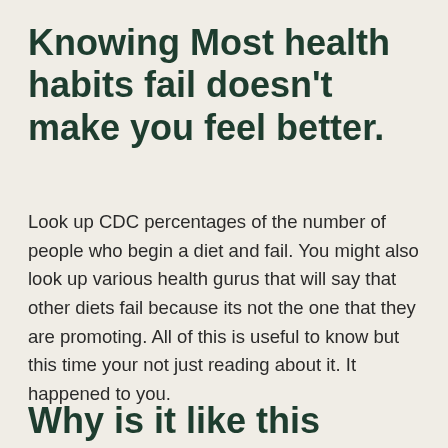Knowing Most health habits fail doesn't make you feel better.
Look up CDC percentages of the number of people who begin a diet and fail. You might also look up various health gurus that will say that other diets fail because its not the one that they are promoting. All of this is useful to know but this time your not just reading about it. It happened to you.
Why is it like this